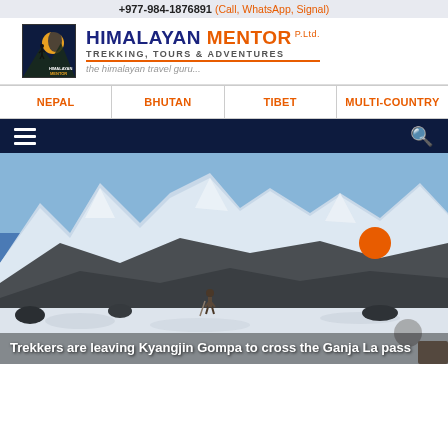+977-984-1876891 (Call, WhatsApp, Signal)
[Figure (logo): Himalayan Mentor logo with mountaineer silhouette against moon]
HIMALAYAN MENTOR P.ltd. — TREKKING, TOURS & ADVENTURES — the himalayan travel guru...
NEPAL | BHUTAN | TIBET | MULTI-COUNTRY
[Figure (screenshot): Dark navy navigation bar with hamburger menu icon on left and search icon on right]
[Figure (photo): Trekkers walking through snowy mountain valley below snow-capped peaks under blue sky, crossing toward Ganja La pass from Kyangjin Gompa]
Trekkers are leaving Kyangjin Gompa to cross the Ganja La pass